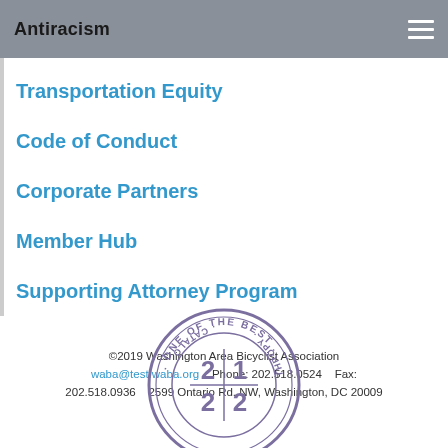Antiracism
Transportation Equity
Code of Conduct
Corporate Partners
Member Hub
Supporting Attorney Program
©2019 Washington Area Bicyclist Association
waba@test.waba.org    Phone: 202.518.0524    Fax: 202.518.0936    2599 Ontario Rd. NW, Washington, DC 20009
[Figure (illustration): A circular seal/stamp graphic with text reading 'ONE OF THE BEST' around the top, 'CATALOG' on the left, 'THROPY' on the right, and '21 22' in the center divided by a cross/plus symbol, in purple/violet color.]